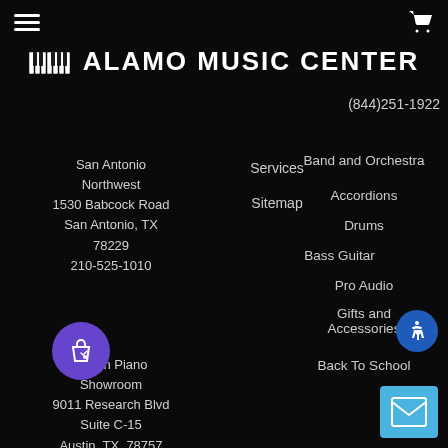Alamo Music Center - hamburger menu and cart icon
ALAMO MUSIC CENTER
(844)251-1922
Services
Sitemap
Band and Orchestra
Accordions
Drums
Bass Guitar
Pro Audio
Gifts and Accessories
Back To School
San Antonio Northwest
1530 Babcock Road
San Antonio, TX 78229
210-525-1010
Austin Piano Showroom
9011 Research Blvd
Suite C-15
Austin, TX, 78757
512-777-0183